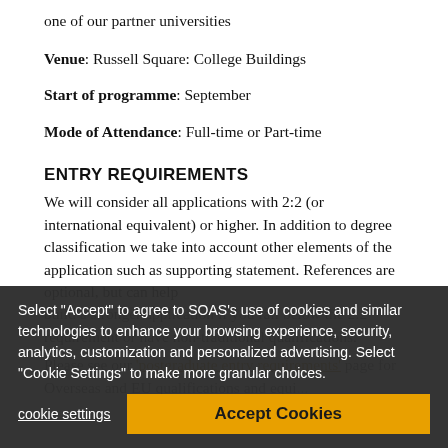one of our partner universities
Venue: Russell Square: College Buildings
Start of programme: September
Mode of Attendance: Full-time or Part-time
ENTRY REQUIREMENTS
We will consider all applications with 2:2 (or international equivalent) or higher. In addition to degree classification we take into account other elements of the application such as supporting statement. References are optional, but can help build a stronger application if you fall below the 2:2 requirement or have non-traditional qualifications.
Please see our 'postgraduate entry requirements' page for Overseas and EU qualifications and equi...
Select "Accept" to agree to SOAS's use of cookies and similar technologies to enhance your browsing experience, security, analytics, customization and personalized advertising. Select "Cookie Settings" to make more granular choices.